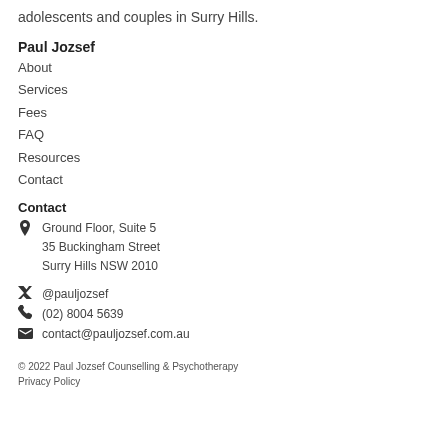adolescents and couples in Surry Hills.
Paul Jozsef
About
Services
Fees
FAQ
Resources
Contact
Contact
Ground Floor, Suite 5
35 Buckingham Street
Surry Hills NSW 2010
@pauljozsef
(02) 8004 5639
contact@pauljozsef.com.au
© 2022 Paul Jozsef Counselling & Psychotherapy
Privacy Policy